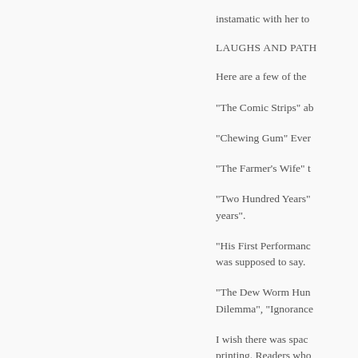instamatic with her to
LAUGHS AND PATH
Here are a few of the
"The Comic Strips" ab
"Chewing Gum" Ever
"The Farmer's Wife" t
"Two Hundred Years" years".
"His First Performance was supposed to say.
"The Dew Worm Hun Dilemma", "Ignorance
I wish there was spac printing. Readers who